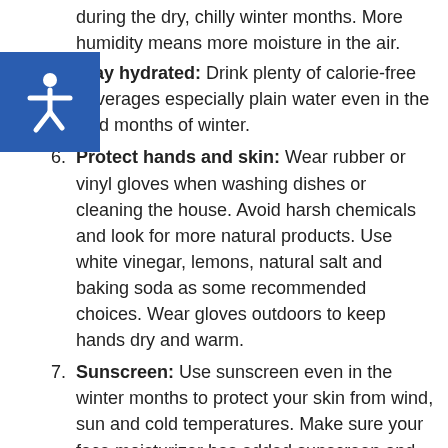during the dry, chilly winter months. More humidity means more moisture in the air.
5. Stay hydrated: Drink plenty of calorie-free beverages especially plain water even in the cold months of winter.
6. Protect hands and skin: Wear rubber or vinyl gloves when washing dishes or cleaning the house. Avoid harsh chemicals and look for more natural products. Use white vinegar, lemons, natural salt and baking soda as some recommended choices. Wear gloves outdoors to keep hands dry and warm.
7. Sunscreen: Use sunscreen even in the winter months to protect your skin from wind, sun and cold temperatures. Make sure your face moisturizer has added sunscreen and use 30 SPF or higher. Lips become easily chapped in